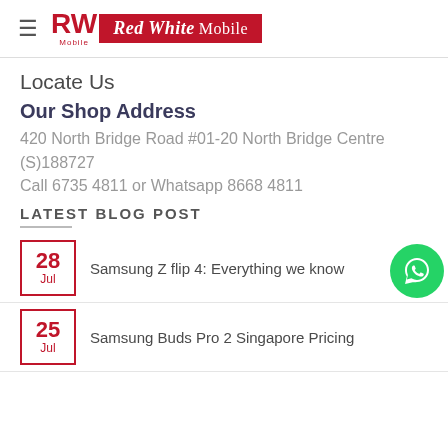[Figure (logo): Red White Mobile logo — RW in red with 'Mobile' subscript, followed by red banner reading 'Red White Mobile']
Locate Us
Our Shop Address
420 North Bridge Road #01-20 North Bridge Centre (S)188727
Call 6735 4811 or Whatsapp 8668 4811
LATEST BLOG POST
Samsung Z flip 4: Everything we know
Samsung Buds Pro 2 Singapore Pricing